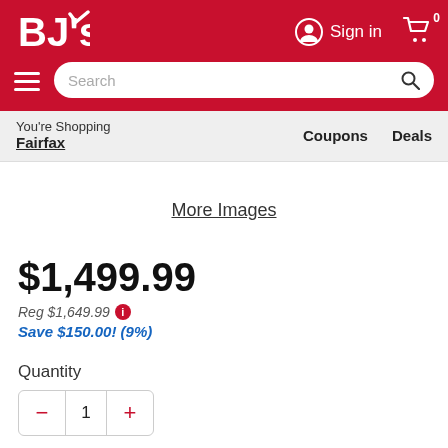BJ's Wholesale Club - Sign in - Cart 0 - Search bar - You're Shopping Fairfax - Coupons - Deals
More Images
$1,499.99
Reg $1,649.99
Save $150.00! (9%)
Quantity
1